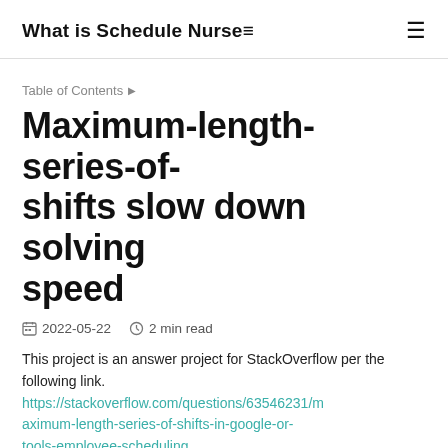What is Schedule Nurse≡
Table of Contents ▶
Maximum-length-series-of-shifts slow down solving speed
2022-05-22   2 min read
This project is an answer project for StackOverflow per the following link. https://stackoverflow.com/questions/63546231/maximum-length-series-of-shifts-in-google-or-tools-employee-scheduling